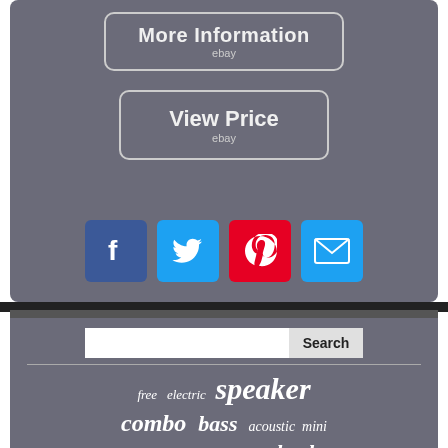[Figure (screenshot): Button labeled 'More Information' with 'ebay' subtitle, rounded rectangle border on gray background]
[Figure (screenshot): Button labeled 'View Price' with 'ebay' subtitle, rounded rectangle border on gray background]
[Figure (infographic): Social media icons: Facebook (blue), Twitter (blue), Pinterest (red), Email (blue)]
[Figure (screenshot): Search bar with text input and Search button]
free electric speaker combo bass acoustic mini fender extension greenback tolex black guitar